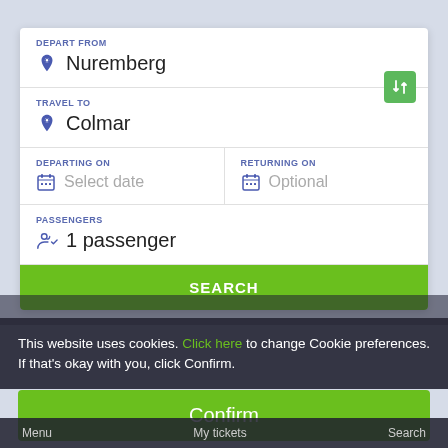DEPART FROM
Nuremberg
TRAVEL TO
Colmar
DEPARTING ON
Select date
RETURNING ON
Optional
PASSENGERS
1 passenger
SEARCH
This website uses cookies. Click here to change Cookie preferences. If that's okay with you, click Confirm.
Confirm
Menu   My tickets   Search